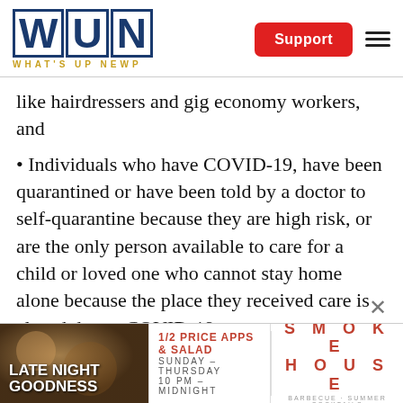WUN — What's Up Newp | Support
like hairdressers and gig economy workers, and
• Individuals who have COVID-19, have been quarantined or have been told by a doctor to self-quarantine because they are high risk, or are the only person available to care for a child or loved one who cannot stay home alone because the place they received care is closed due to COVID-19.
[Figure (photo): Smokehouse BBQ advertisement banner: Late Night Goodness — 1/2 Price Apps & Salad, Sunday-Thursday, 10 PM – Midnight]